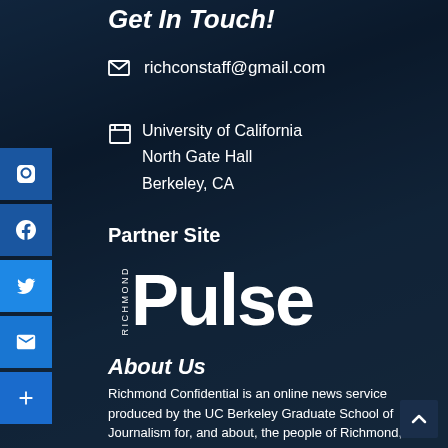Get In Touch!
richconstaff@gmail.com
University of California
North Gate Hall
Berkeley, CA
Partner Site
[Figure (logo): Richmond Pulse logo - vertical 'RICHMOND' text beside large 'Pulse' wordmark in white]
About Us
Richmond Confidential is an online news service produced by the UC Berkeley Graduate School of Journalism for, and about, the people of Richmond, California.  Our goal is to produce professional and engaging journalism that is useful for the citizens of the city.